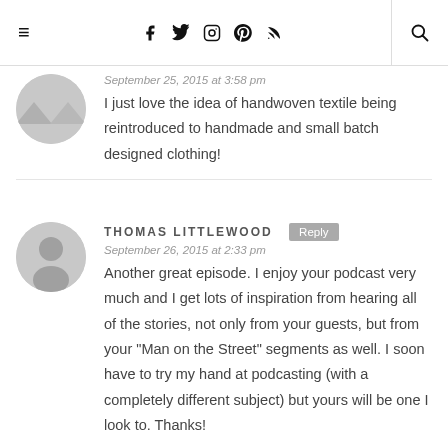Navigation bar with hamburger menu, social icons (Facebook, Twitter, Instagram, Pinterest, RSS), and search
September 25, 2015 at 3:58 pm
I just love the idea of handwoven textile being reintroduced to handmade and small batch designed clothing!
THOMAS LITTLEWOOD
September 26, 2015 at 2:33 pm
Another great episode. I enjoy your podcast very much and I get lots of inspiration from hearing all of the stories, not only from your guests, but from your "Man on the Street" segments as well. I soon have to try my hand at podcasting (with a completely different subject) but yours will be one I look to. Thanks!